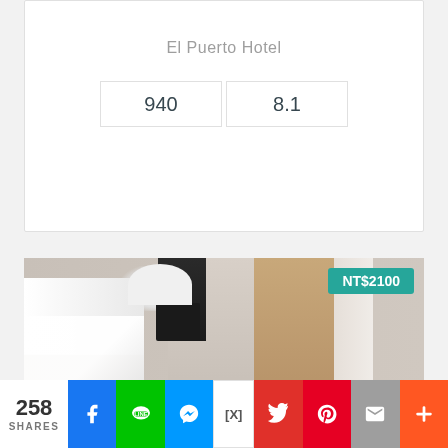El Puerto Hotel
| 940 | 8.1 |
[Figure (photo): Hotel room interior photo showing a bed with white linens on the left, a wall-mounted lamp, dark storage unit, and a wooden door/paneling on the right side. A price badge shows NT$2100 in teal in the upper right corner.]
NT$2100
258 SHARES
f (Facebook share button)
LINE share button
Messenger share button
[X] close button
Twitter share button
Pinterest share button
Email share button
+ More share button